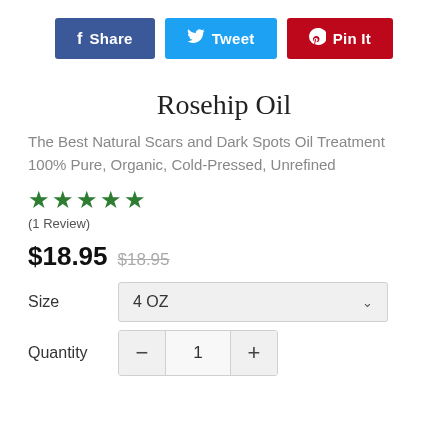[Figure (infographic): Three social sharing buttons: Facebook Share (dark blue), Twitter Tweet (light blue), Pinterest Pin It (dark red)]
Rosehip Oil
The Best Natural Scars and Dark Spots Oil Treatment 100% Pure, Organic, Cold-Pressed, Unrefined
★★★★★ (1 Review)
$18.95  $18.95
Size  4 OZ
Quantity  −  1  +